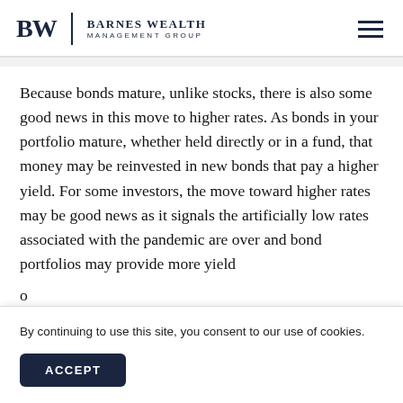BW | BARNES WEALTH MANAGEMENT GROUP
Because bonds mature, unlike stocks, there is also some good news in this move to higher rates. As bonds in your portfolio mature, whether held directly or in a fund, that money may be reinvested in new bonds that pay a higher yield. For some investors, the move toward higher rates may be good news as it signals the artificially low rates associated with the pandemic are over and bond portfolios may provide more yield
o... te... in...
By continuing to use this site, you consent to our use of cookies.
ACCEPT